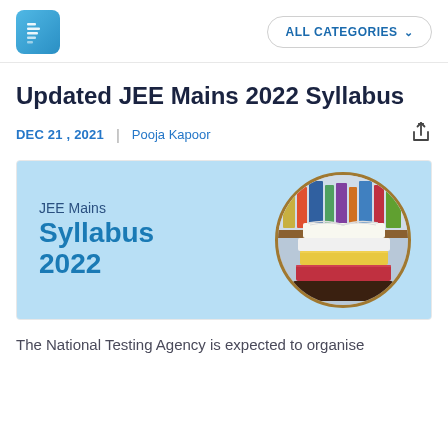ALL CATEGORIES
Updated JEE Mains 2022 Syllabus
DEC 21, 2021 | Pooja Kapoor
[Figure (illustration): Banner image with light blue background showing 'JEE Mains Syllabus 2022' text on the left and a circular photo of stacked books on the right]
The National Testing Agency is expected to organise